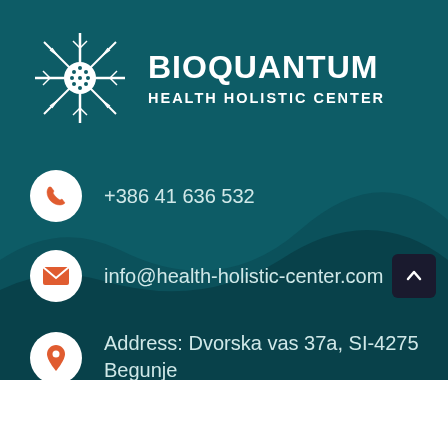[Figure (logo): Bioquantum Health Holistic Center logo — white snowflake/neuron-like symbol on teal background, with company name to the right]
BIOQUANTUM
HEALTH HOLISTIC CENTER
+386 41 636 532
info@health-holistic-center.com
Address: Dvorska vas 37a, SI-4275 Begunje na Gorenjskem, Slovenia